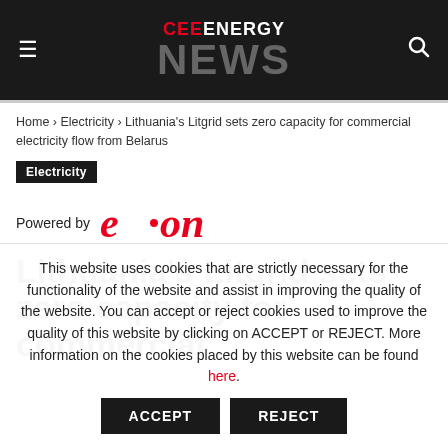CEE ENERGY NEWS
Home › Electricity › Lithuania's Litgrid sets zero capacity for commercial electricity flow from Belarus
Electricity
[Figure (logo): Powered by E.ON logo — red cursive e.on brand mark]
Lithuania's Litgrid sets zero capacity for commercial
This website uses cookies that are strictly necessary for the functionality of the website and assist in improving the quality of the website. You can accept or reject cookies used to improve the quality of this website by clicking on ACCEPT or REJECT. More information on the cookies placed by this website can be found here.
ACCEPT   REJECT